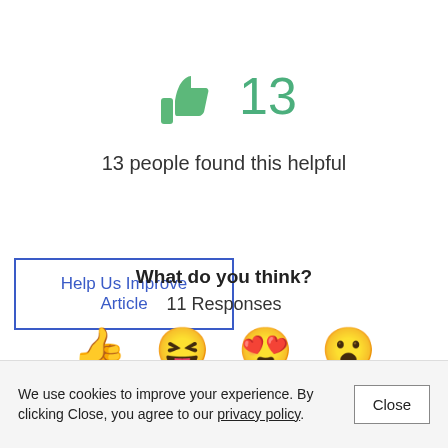[Figure (illustration): Green thumbs up icon with the number 13 in green to its right]
13 people found this helpful
[Figure (other): Button with blue border labeled 'Help Us Improve Article']
What do you think?
11 Responses
[Figure (illustration): Row of four emoji icons: thumbs up, laughing face with tongue, heart eyes face, surprised/wow face]
We use cookies to improve your experience. By clicking Close, you agree to our privacy policy.